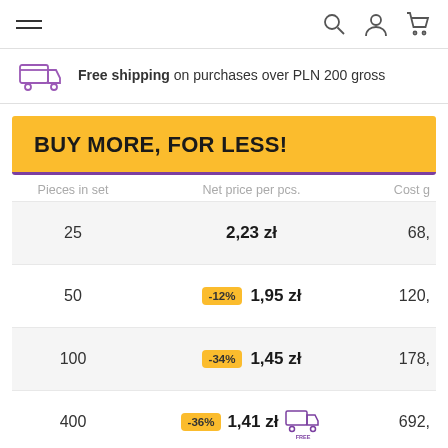Navigation bar with menu, search, user, and cart icons
Free shipping on purchases over PLN 200 gross
BUY MORE, FOR LESS!
| Pieces in set | Net price per pcs. | Cost g |
| --- | --- | --- |
| 25 | 2,23 zł | 68, |
| 50 | -12% 1,95 zł | 120, |
| 100 | -34% 1,45 zł | 178, |
| 400 | -36% 1,41 zł | 692, |
| 800 | ★ -38% 1,37 zł | 1344, |